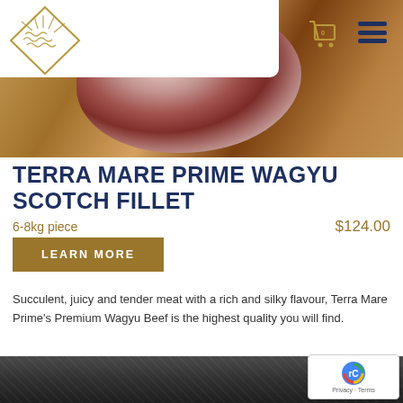[Figure (photo): Hero banner showing a close-up of a Wagyu beef scotch fillet with visible marbling on a wooden board. A navigation bar overlays the top-left with a geometric diamond logo. Cart and hamburger menu icons are on the top-right.]
TERRA MARE PRIME WAGYU SCOTCH FILLET
6-8kg piece    $124.00
LEARN MORE
Succulent, juicy and tender meat with a rich and silky flavour, Terra Mare Prime's Premium Wagyu Beef is the highest quality you will find.
[Figure (photo): Bottom dark grey/charcoal textured surface, partially visible.]